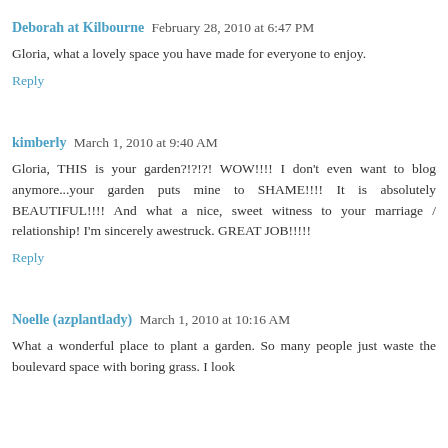Deborah at Kilbourne  February 28, 2010 at 6:47 PM
Gloria, what a lovely space you have made for everyone to enjoy.
Reply
kimberly  March 1, 2010 at 9:40 AM
Gloria, THIS is your garden?!?!?! WOW!!!! I don't even want to blog anymore...your garden puts mine to SHAME!!!! It is absolutely BEAUTIFUL!!!! And what a nice, sweet witness to your marriage / relationship! I'm sincerely awestruck. GREAT JOB!!!!!
Reply
Noelle (azplantlady)  March 1, 2010 at 10:16 AM
What a wonderful place to plant a garden. So many people just waste the boulevard space with boring grass. I look